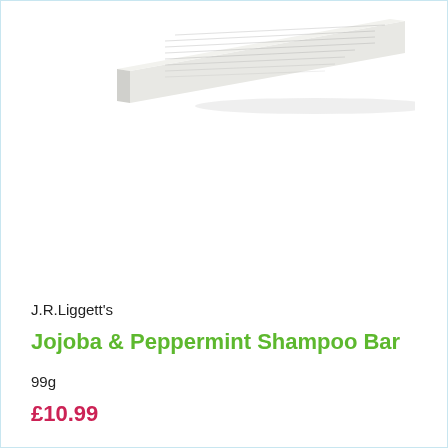[Figure (photo): Product photo of J.R. Liggett's Jojoba & Peppermint Shampoo Bar packaging — a flat rectangular bar/box shown at an angle, light gray/white with text printed on it, viewed from slightly above.]
J.R.Liggett's
Jojoba & Peppermint Shampoo Bar
99g
£10.99